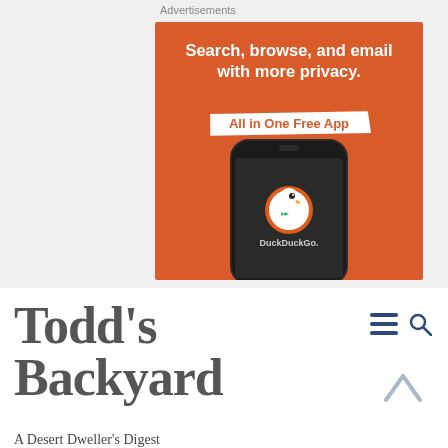Advertisements
[Figure (illustration): DuckDuckGo advertisement banner on an orange background showing a smartphone with the DuckDuckGo logo. Text reads: 'Search, browse, and email with more privacy. All in One Free App'. The phone displays the DuckDuckGo duck logo and the text 'DuckDuckGo.' on a dark screen.]
Todd's Backyard
A Desert Dweller's Digest